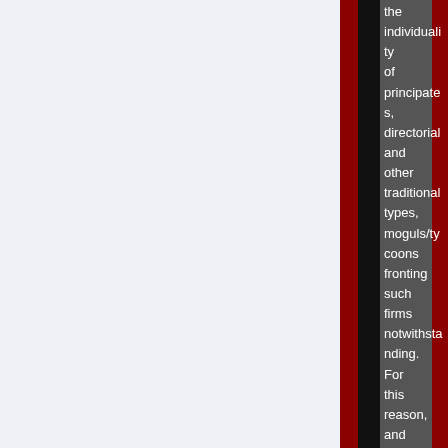the individuality of principates, directorial and other traditional types, moguls/tycoons fronting such firms notwithstanding. For this reason, and by my personal inclination to support